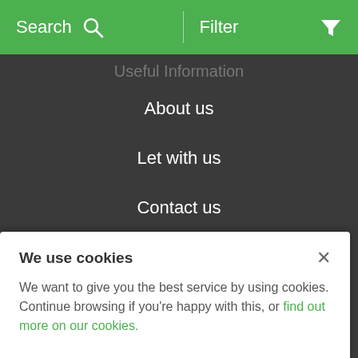Search | Filter
Useful Information
About us
Let with us
Contact us
The Essentials
Terms of use
We use cookies
We want to give you the best service by using cookies. Continue browsing if you're happy with this, or find out more on our cookies.
Cookies